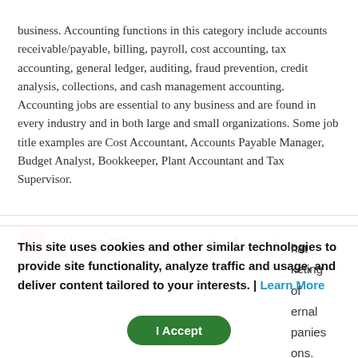business. Accounting functions in this category include accounts receivable/payable, billing, payroll, cost accounting, tax accounting, general ledger, auditing, fraud prevention, credit analysis, collections, and cash management accounting. Accounting jobs are essential to any business and are found in every industry and in both large and small organizations. Some job title examples are Cost Accountant, Accounts Payable Manager, Budget Analyst, Bookkeeper, Plant Accountant and Tax Supervisor.
About Pharmaceuticals Industry
This site uses cookies and other similar technologies to provide site functionality, analyze traffic and usage, and deliver content tailored to your interests. | Learn More
I Accept